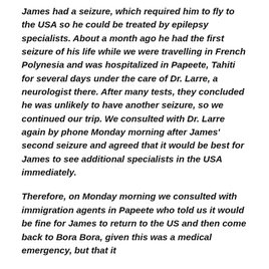James had a seizure, which required him to fly to the USA so he could be treated by epilepsy specialists. About a month ago he had the first seizure of his life while we were travelling in French Polynesia and was hospitalized in Papeete, Tahiti for several days under the care of Dr. Larre, a neurologist there. After many tests, they concluded he was unlikely to have another seizure, so we continued our trip. We consulted with Dr. Larre again by phone Monday morning after James' second seizure and agreed that it would be best for James to see additional specialists in the USA immediately.
Therefore, on Monday morning we consulted with immigration agents in Papeete who told us it would be fine for James to return to the US and then come back to Bora Bora, given this was a medical emergency, but that it